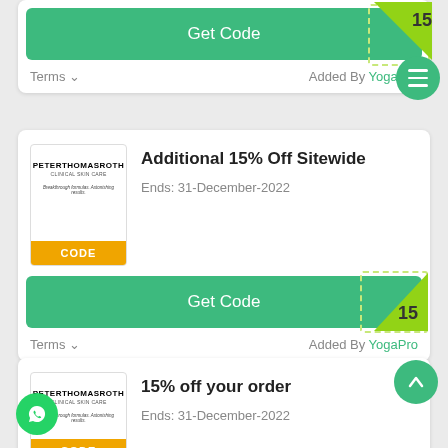[Figure (screenshot): Get Code button (green) with a '15' badge/tag for a coupon, partial top card visible]
Terms ∨        Added By YogaPro
[Figure (screenshot): Peter Thomas Roth brand logo card with CODE label]
Additional 15% Off Sitewide
Ends: 31-December-2022
[Figure (screenshot): Get Code button (green) with a '15' badge/tag]
Terms ∨        Added By YogaPro
[Figure (screenshot): Peter Thomas Roth brand logo card with CODE label - third card]
15% off your order
Ends: 31-December-2022